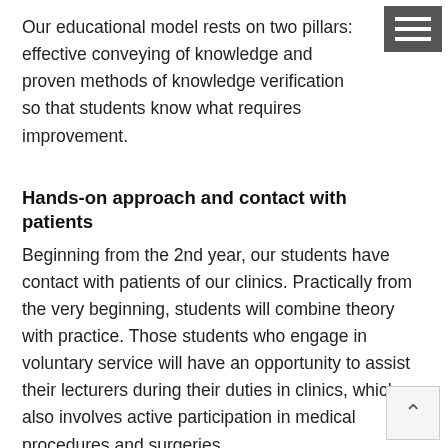Our educational model rests on two pillars: effective conveying of knowledge and proven methods of knowledge verification so that students know what requires improvement.
Hands-on approach and contact with patients
Beginning from the 2nd year, our students have contact with patients of our clinics. Practically from the very beginning, students will combine theory with practice. Those students who engage in voluntary service will have an opportunity to assist their lecturers during their duties in clinics, which also involves active participation in medical procedures and surgeries.